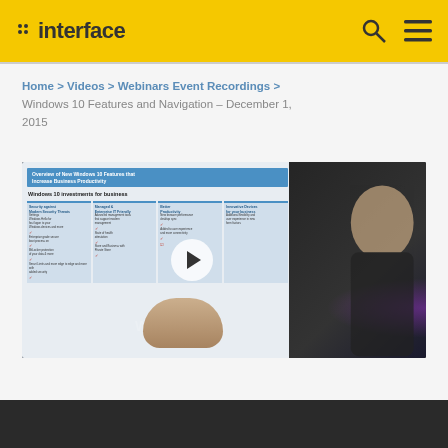interface
Home > Videos > Webinars Event Recordings > Windows 10 Features and Navigation – December 1, 2015
[Figure (screenshot): Video thumbnail showing a presenter pointing at a slide titled 'Overview of New Windows 10 Features that Increase Business Productivity' with 'Windows 10 investments for business' content. A play button is overlaid in the center.]